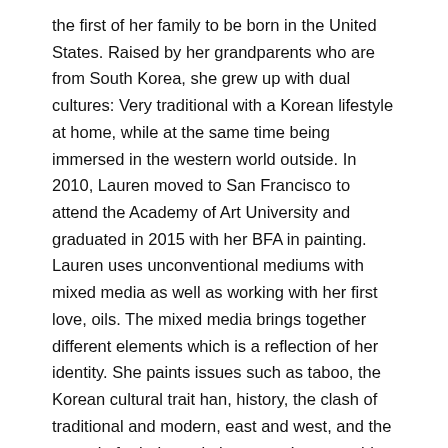the first of her family to be born in the United States. Raised by her grandparents who are from South Korea, she grew up with dual cultures: Very traditional with a Korean lifestyle at home, while at the same time being immersed in the western world outside. In 2010, Lauren moved to San Francisco to attend the Academy of Art University and graduated in 2015 with her BFA in painting. Lauren uses unconventional mediums with mixed media as well as working with her first love, oils. The mixed media brings together different elements which is a reflection of her identity. She paints issues such as taboo, the Korean cultural trait han, history, the clash of traditional and modern, east and west, and the struggle for balance in between. Lauren adds: "The Little Death is a play between sex and death, the desire to live forever but also the inevitable return of our bodies to nature. I was raised by my grandparents and as they are now near death, they talk about leaving this world all the time. When I think about their death, I think about the entirety of their lives, how they lived it, what actions and decisions they did or did not make. I also see their different emotional reactions to it, my grandma: ready to